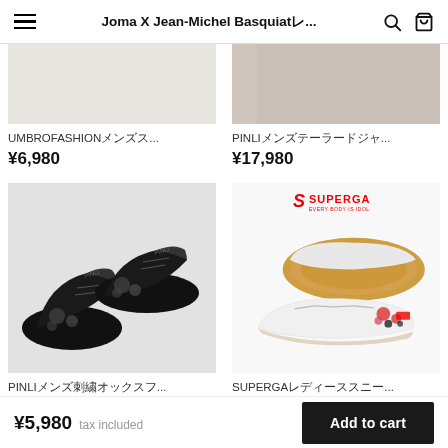Joma X Jean-Michel Basquiatレ...
UMBROFASHIONメンズス...
¥6,980
PINLIメンズテーラードジャ...
¥17,980
[Figure (photo): Black PINLI men's embroidered oxford shoes from above]
PINLIメンズ刺繍オックスフ...
¥16,980
[Figure (photo): White SUPERGA women's sneakers with floral embroidery, shown from above and side, with SUPERGA logo]
SUPERGAレディーススニー...
¥13,980
¥5,980 tax included  Add to cart